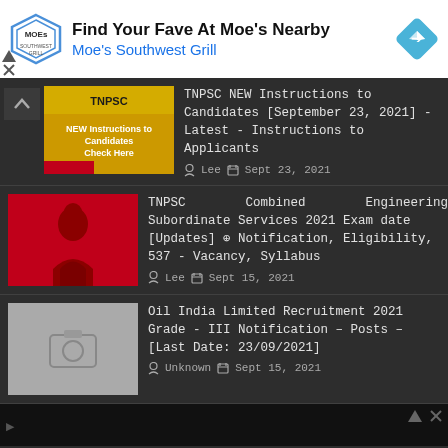[Figure (other): Advertisement banner for Moe's Southwest Grill with logo and navigation icon]
[Figure (photo): TNPSC NEW Instructions to Candidates Check Here thumbnail image]
TNPSC NEW Instructions to Candidates [September 23, 2021] - Latest - Instructions to Applicants
Lee  Sept 23, 2021
[Figure (photo): Red Buddha silhouette on red background thumbnail for TNPSC Combined Engineering article]
TNPSC Combined Engineering Subordinate Services 2021 Exam date [Updates] ⊕ Notification, Eligibility, 537 - Vacancy, Syllabus
Lee  Sept 15, 2021
[Figure (photo): Grey placeholder image with camera icon for Oil India Limited article]
Oil India Limited Recruitment 2021 Grade - III Notification – Posts – [Last Date: 23/09/2021]
Unknown  Sept 15, 2021
[Figure (other): Bottom advertisement banner partial view]